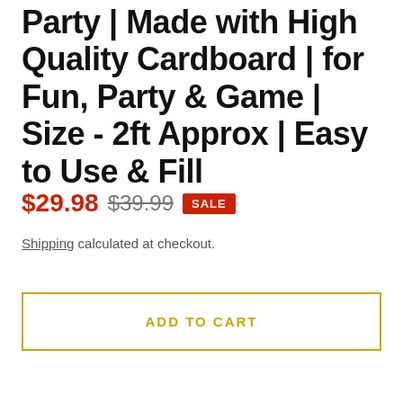Party | Made with High Quality Cardboard | for Fun, Party & Game | Size - 2ft Approx | Easy to Use & Fill
$29.98  $39.99  SALE
Shipping calculated at checkout.
ADD TO CART